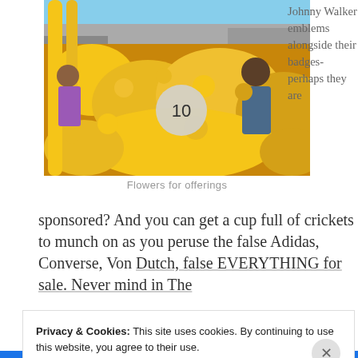[Figure (photo): Marigold flower garlands for offerings at a market stall, with a person behind the counter. A circular badge with the number 10 is overlaid on the image.]
Flowers for offerings
Johnny Walker emblems alongside their badges-perhaps they are
sponsored? And you can get a cup full of crickets to munch on as you peruse the false Adidas, Converse, Von Dutch, false EVERYTHING for sale. Never mind in The
Privacy & Cookies: This site uses cookies. By continuing to use this website, you agree to their use.
To find out more, including how to control cookies, see here: Cookie Policy
Close and accept